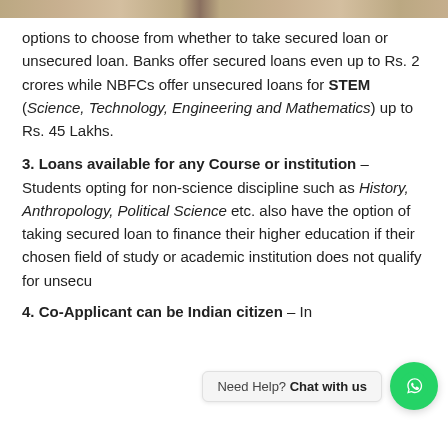[Figure (photo): Partial image of a person visible at the top of the page, cropped banner]
options to choose from whether to take secured loan or unsecured loan. Banks offer secured loans even up to Rs. 2 crores while NBFCs offer unsecured loans for STEM (Science, Technology, Engineering and Mathematics) up to Rs. 45 Lakhs.
3. Loans available for any Course or institution – Students opting for non-science discipline such as History, Anthropology, Political Science etc. also have the option of taking secured loan to finance their higher education if their chosen field of study or academic institution does not qualify for unsecured loans.
4. Co-Applicant can be Indian citizen – In